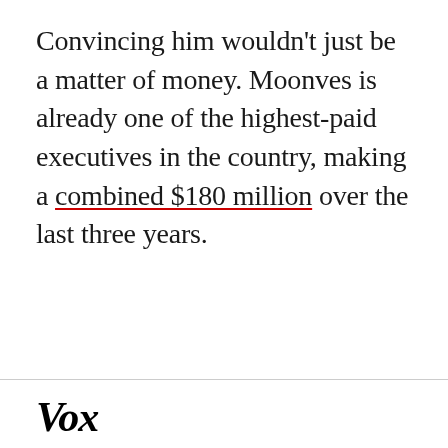Convincing him wouldn't just be a matter of money. Moonves is already one of the highest-paid executives in the country, making a combined $180 million over the last three years.
Vox